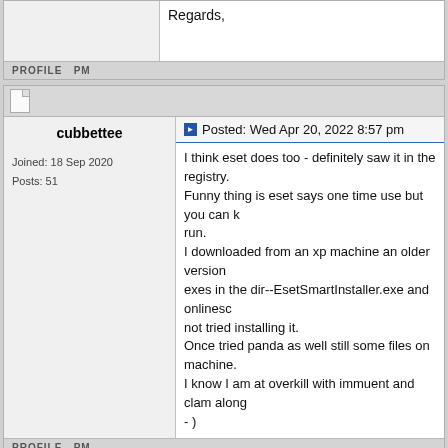Regards,
PROFILE  PM
cubbettee — Posted: Wed Apr 20, 2022 8:57 pm
I think eset does too - definitely saw it in the registry. Funny thing is eset says one time use but you can keep rerunning it each run. I downloaded from an xp machine an older version exes in the dir--EsetSmartInstaller.exe and onlinesc... not tried installing it. Once tried panda as well still some files on machine. I know I am at overkill with immuent and clam along... - )
Joined: 18 Sep 2020
Posts: 51
PROFILE  PM
GuitarBob — Posted: Wed Apr 20, 2022 11:41 pm
Some AVs used to have two exe files running at the... usually do that now, so I wouldn't use one that does...
Joined: 09 Jul 2006
Posts: 4884
Location: USA
Immunet had some good possibilities at first. They...